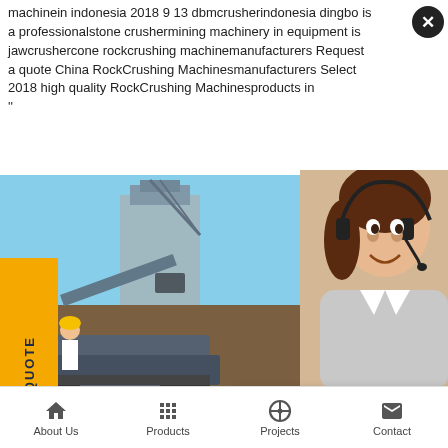machinein indonesia 2018 9 13 dbmcrusherindonesia dingbo is a professionalstone crushermining machinery in equipment is jawcrushercone rockcrushing machinemanufacturers Request a quote China RockCrushing Machinesmanufacturers Select 2018 high quality RockCrushing Machinesproducts in ''
[Figure (screenshot): Website screenshot showing a mining machinery company page (C&M Machinery) with a live chat popup overlay. The page features a main image of mining equipment and workers in hard hats, a yellow 'Request A Quote' vertical sidebar button, a right panel with customer service representative photo, Quotation and Enquiry buttons, and a drobilkalm@gmail.com contact. The live chat popup shows 'LIVE CHAT' in red text with 'Click for a Free Consultation', and buttons 'Chat now' (red) and 'Chat later' (dark grey).]
About Us   Products   Projects   Contact